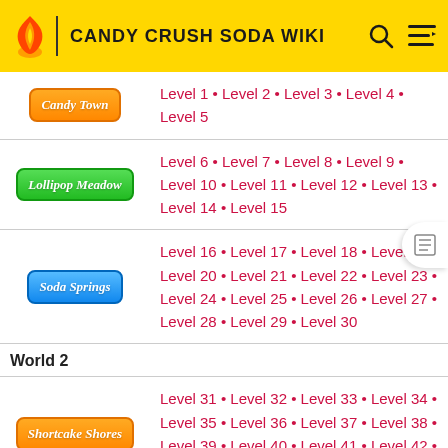CANDY CRUSH SODA WIKI
| Area | Levels |
| --- | --- |
| Candy Town | Level 1 • Level 2 • Level 3 • Level 4 • Level 5 |
| Lollipop Meadow | Level 6 • Level 7 • Level 8 • Level 9 • Level 10 • Level 11 • Level 12 • Level 13 • Level 14 • Level 15 |
| Soda Springs | Level 16 • Level 17 • Level 18 • Level 19 • Level 20 • Level 21 • Level 22 • Level 23 • Level 24 • Level 25 • Level 26 • Level 27 • Level 28 • Level 29 • Level 30 |
| World 2 |  |
| Shortcake Shores | Level 31 • Level 32 • Level 33 • Level 34 • Level 35 • Level 36 • Level 37 • Level 38 • Level 39 • Level 40 • Level 41 • Level 42 • Level 43 • Level 44 • Level 45 |